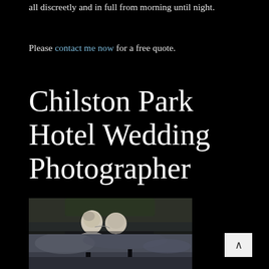all discreetly and in full from morning until night.
Please contact me now for a free quote.
Chilston Park Hotel Wedding Photographer
[Figure (photo): Wedding couple kissing outdoors, bride in white dress and groom in dark suit, blurred background with trees and water, dark moody tone]
[Figure (photo): Second wedding photo partially visible, outdoor setting with moody sky]